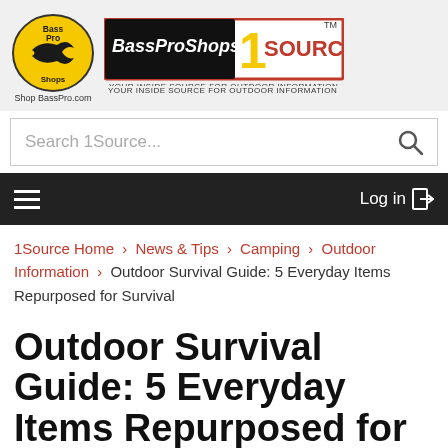[Figure (logo): Bass Pro Shops oval logo with fish graphic and 'Shop BassPro.com' text below]
[Figure (logo): BassProShops 1SOURCE banner logo with tagline 'YOUR INSIDE SOURCE FOR OUTDOOR INFORMATION' and TM mark]
Search 1Source...
Log in
1Source Home > News & Tips > Camping > Outdoor Information > Outdoor Survival Guide: 5 Everyday Items Repurposed for Survival
Outdoor Survival Guide: 5 Everyday Items Repurposed for Survival